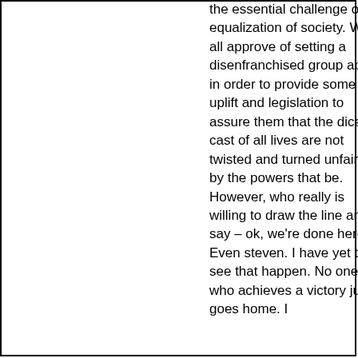the essential challenge of equalization of society. We all approve of setting a disenfranchised group apart in order to provide some uplift and legislation to assure them that the dice cast of all lives are not twisted and turned unfairly by the powers that be. However, who really is willing to draw the line and say – ok, we're done here. Even steven. I have yet to see that happen. No one who achieves a victory just goes home. I